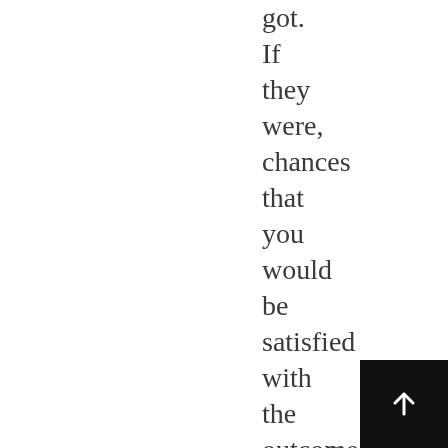got. If they were, chances that you would be satisfied with the outcome you get would be high...
[Figure (other): Black square button with a white upward-pointing arrow icon in the bottom-right corner of the page.]